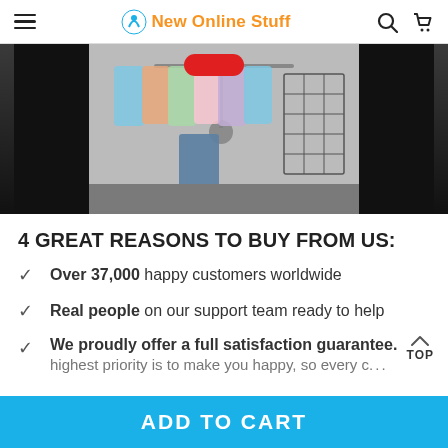New Online Stuff
[Figure (photo): A clothing rack display with colorful garments, a person wearing jeans visible, set against a dark background.]
4 GREAT REASONS TO BUY FROM US:
Over 37,000 happy customers worldwide
Real people on our support team ready to help
We proudly offer a full satisfaction guarantee. highest priority is to make you happy, so every c...